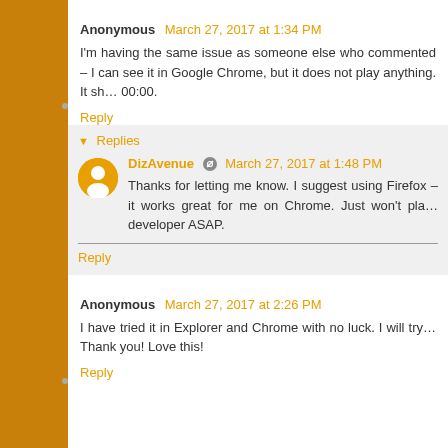Anonymous  March 27, 2017 at 1:34 PM
I'm having the same issue as someone else who commented – I can see it in Google Chrome, but it does not play anything. It shows 00:00.
Reply
Replies
DizAvenue  March 27, 2017 at 1:48 PM
Thanks for letting me know. I suggest using Firefox – it works great for me on Chrome. Just won't pla… developer ASAP.
Reply
Anonymous  March 27, 2017 at 2:26 PM
I have tried it in Explorer and Chrome with no luck. I will try… Thank you! Love this!
Reply